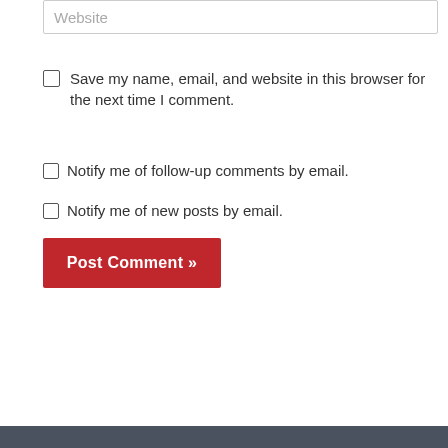Website
Save my name, email, and website in this browser for the next time I comment.
Notify me of follow-up comments by email.
Notify me of new posts by email.
Post Comment »